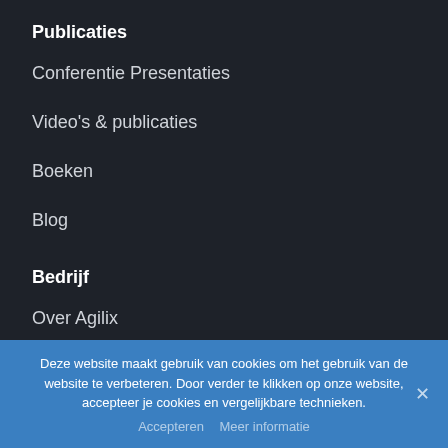Publicaties
Conferentie Presentaties
Video's & publicaties
Boeken
Blog
Bedrijf
Over Agilix
Deze website maakt gebruik van cookies om het gebruik van de website te verbeteren. Door verder te klikken op onze website, accepteer je cookies en vergelijkbare technieken.
Accepteren   Meer informatie